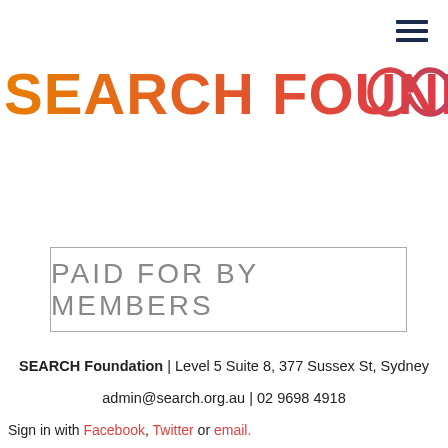[Figure (logo): Search Foundation logo with gradient text from orange to red-pink and an infinity symbol in red-pink gradient on the right]
[Figure (other): Hamburger menu icon (three horizontal lines) in dark navy/black, top-right corner]
PAID FOR BY MEMBERS
SEARCH Foundation | Level 5 Suite 8, 377 Sussex St, Sydney
admin@search.org.au | 02 9698 4918
Sign in with Facebook, Twitter or email.